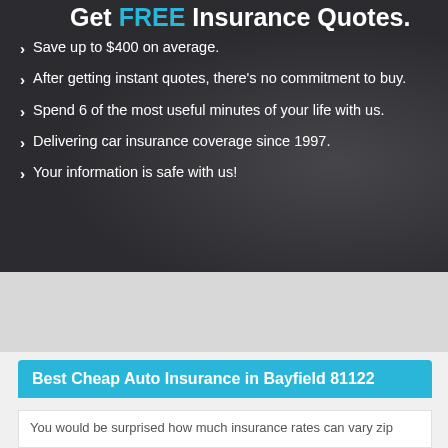Get FREE Insurance Quotes.
Save up to $400 on average.
After getting instant quotes, there's no commitment to buy.
Spend 6 of the most useful minutes of your life with us.
Delivering car insurance coverage since 1997.
Your information is safe with us!
Best Cheap Auto Insurance in Bayfield 81122
You would be surprised how much insurance rates can vary zip